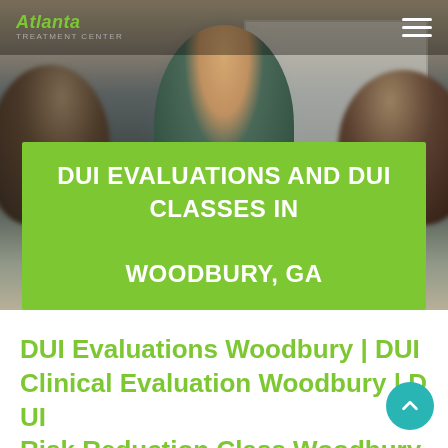[Figure (photo): Classroom scene with instructor speaking to students, viewed from behind two students. Instructor stands at whiteboard.]
Atlanta Treatment Center
DUI EVALUATIONS AND DUI CLASSES IN WOODBURY, GA
DUI Evaluations Woodbury | DUI Clinical Evaluation Woodbury | DUI Risk Reduction Class Woodbury